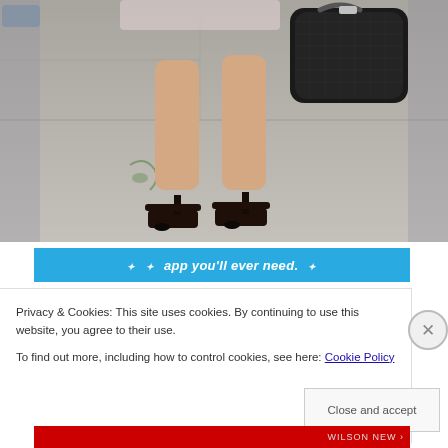[Figure (photo): Lower half of a woman wearing a patterned dress, black ankle-strap heels, and carrying a black woven leather handbag, photographed on a city sidewalk.]
app you'll ever need.
Privacy & Cookies: This site uses cookies. By continuing to use this website, you agree to their use.
To find out more, including how to control cookies, see here: Cookie Policy
Close and accept